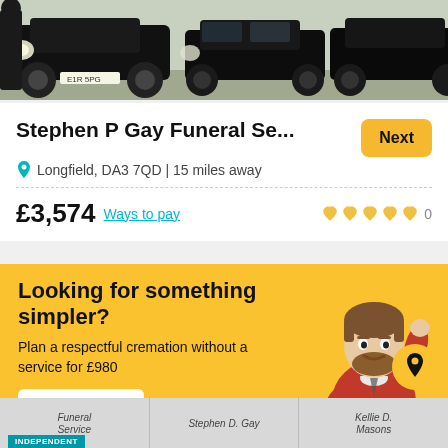[Figure (photo): Black funeral cars parked, person in dark suit visible on left]
Stephen P Gay Funeral Se...
Longfield, DA3 7QD | 15 miles away
£3,574 Ways to pay
Looking for something simpler?
Plan a respectful cremation without a service for £980
Learn more
[Figure (photo): Bottom strip showing funeral service business name tags: Funeral Service, Stephen D. Gay, Masons with INDEPENDENT badge]